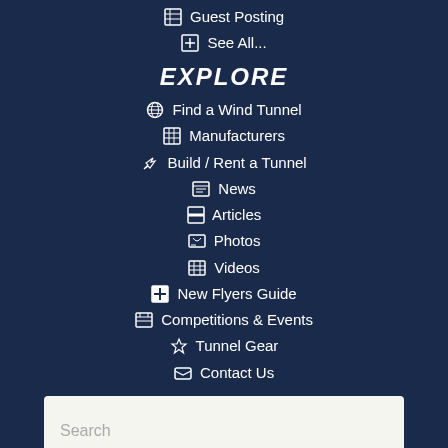Guest Posting
See All...
EXPLORE
Find a Wind Tunnel
Manufacturers
Build / Rent a Tunnel
News
Articles
Photos
Videos
New Flyers Guide
Competitions & Events
Tunnel Gear
Contact Us
SITE SEARCH
Search